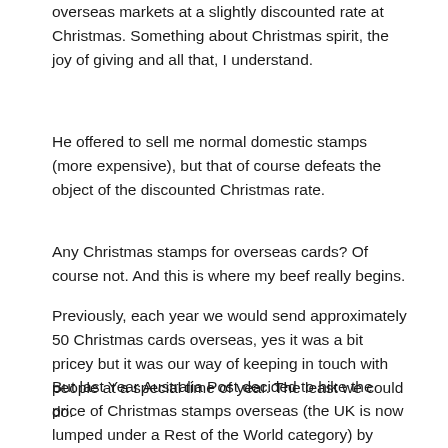overseas markets at a slightly discounted rate at Christmas. Something about Christmas spirit, the joy of giving and all that, I understand.
He offered to sell me normal domestic stamps (more expensive), but that of course defeats the object of the discounted Christmas rate.
Any Christmas stamps for overseas cards? Of course not. And this is where my beef really begins.
Previously, each year we would send approximately 50 Christmas cards overseas, yes it was a bit pricey but it was our way of keeping in touch with people at a special time of year. The least we could do.
But last Year Australia Post decided to hike the price of Christmas stamps overseas (the UK is now lumped under a Rest of the World category) by 54%. It was $1.65 a card but suddenly it rose to $2.55!